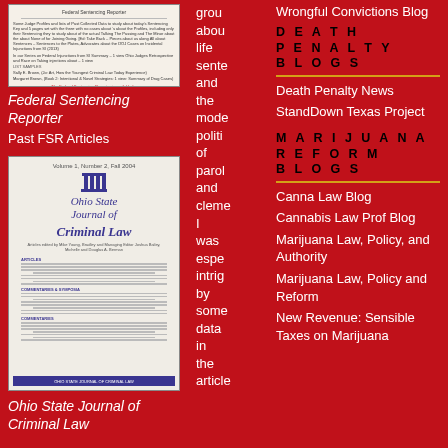[Figure (illustration): Cover image of Federal Sentencing Reporter journal with small text and red publisher text at bottom]
Federal Sentencing Reporter
Past FSR Articles
[Figure (illustration): Cover image of Ohio State Journal of Criminal Law with blue title text, Greek pillar icon, and blue footer bar]
Ohio State Journal of Criminal Law
grounded about life sentence and the modern politics of parole and clemency. I was especially intrigued by some data in the article
Wrongful Convictions Blog
DEATH PENALTY BLOGS
Death Penalty News
StandDown Texas Project
MARIJUANA REFORM BLOGS
Canna Law Blog
Cannabis Law Prof Blog
Marijuana Law, Policy, and Authority
Marijuana Law, Policy and Reform
New Revenue: Sensible Taxes on Marijuana